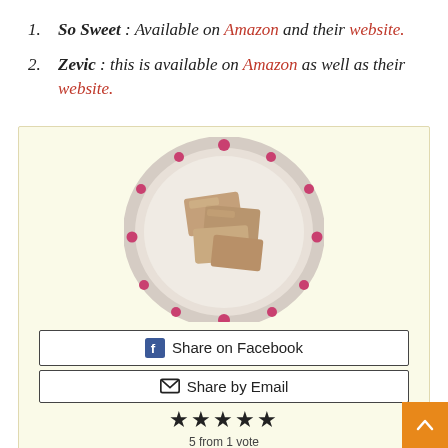So Sweet : Available on Amazon and their website.
Zevic : this is available on Amazon as well as their website.
[Figure (photo): A decorative plate with pink floral border holding pieces of sweet/barfi on a marble surface]
Share on Facebook
Share by Email
★★★★★
5 from 1 vote